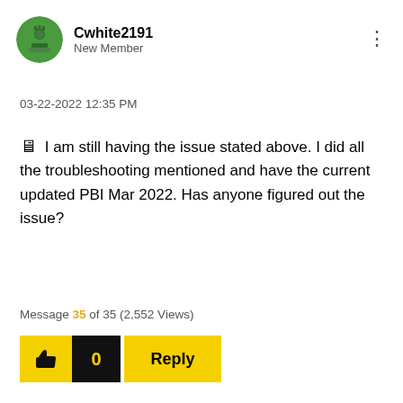[Figure (illustration): Circular green avatar with a chess-piece-like icon for user Cwhite2191]
Cwhite2191
New Member
03-22-2022 12:35 PM
🨢 I am still having the issue stated above. I did all the troubleshooting mentioned and have the current updated PBI Mar 2022. Has anyone figured out the issue?
Message 35 of 35 (2,552 Views)
[Figure (illustration): Like (thumbs up) button in yellow, count badge showing 0 in black, and Reply button in yellow]